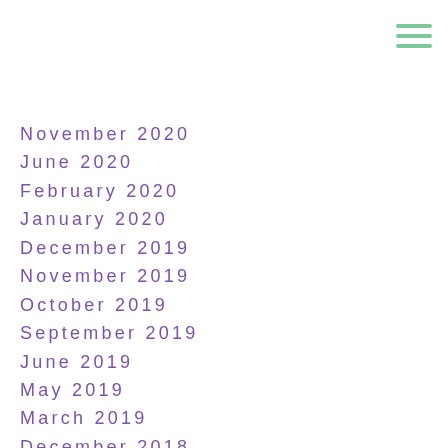[Figure (other): Hamburger menu icon with three green horizontal lines in top-right corner]
November 2020
June 2020
February 2020
January 2020
December 2019
November 2019
October 2019
September 2019
June 2019
May 2019
March 2019
December 2018
October 2018
August 2018
June 2018